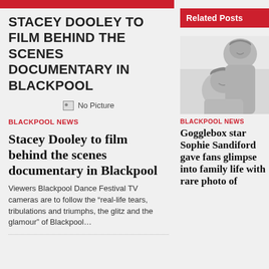STACEY DOOLEY TO FILM BEHIND THE SCENES DOCUMENTARY IN BLACKPOOL
[Figure (other): No Picture placeholder image]
BLACKPOOL NEWS
Stacey Dooley to film behind the scenes documentary in Blackpool
Viewers Blackpool Dance Festival TV cameras are to follow the “real-life tears, tribulations and triumphs, the glitz and the glamour” of Blackpool…
Related Posts
[Figure (photo): Black and white photo of two women smiling, a selfie-style photo]
BLACKPOOL NEWS
Gogglebox star Sophie Sandiford gave fans glimpse into family life with rare photo of